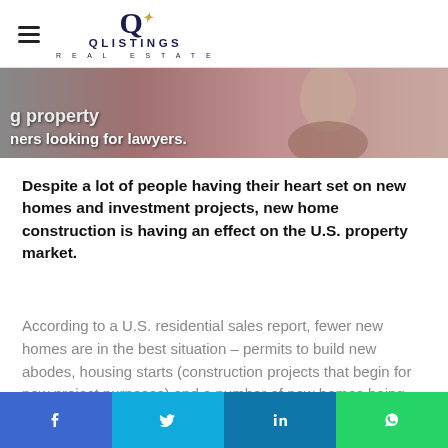QLISTINGS REAL ESTATE
[Figure (photo): Partial banner image showing a woman, with overlaid text: 'g property' and 'ners looking for lawyers.']
Despite a lot of people having their heart set on new homes and investment projects, new home construction is having an effect on the U.S. property market.
According to a U.S. residential sales report, fewer new homes are in the best situation – permits to build new abodes, housing starts (construction projects that begin for new project purposes) and a number of new homes being built has dropped.
[Figure (infographic): Social share bar with Facebook (blue), Twitter (cyan), LinkedIn (blue), WhatsApp (green) buttons.]